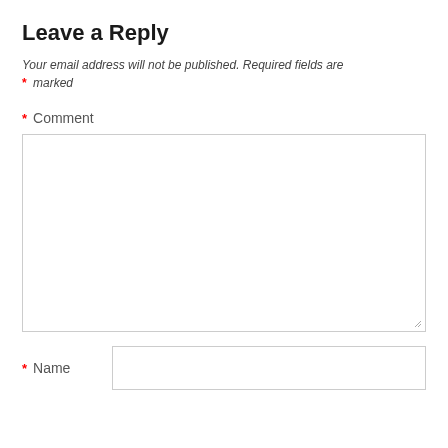Leave a Reply
Your email address will not be published. Required fields are * marked
* Comment
[Figure (other): Large empty comment textarea input box with resize handle]
* Name
[Figure (other): Single line text input box for Name field]